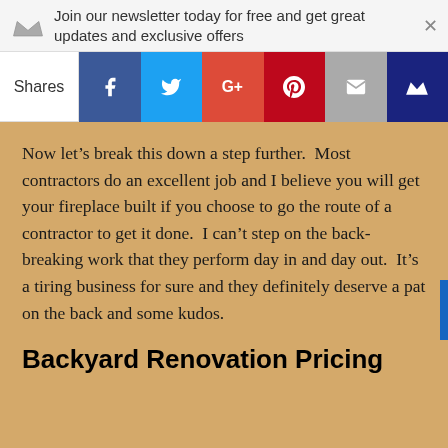Join our newsletter today for free and get great updates and exclusive offers
[Figure (infographic): Social share bar with Shares label, Facebook, Twitter, Google+, Pinterest, Email, and crown icon buttons]
Now let’s break this down a step further. Most contractors do an excellent job and I believe you will get your fireplace built if you choose to go the route of a contractor to get it done. I can’t step on the back-breaking work that they perform day in and day out. It’s a tiring business for sure and they definitely deserve a pat on the back and some kudos.
Backyard Renovation Pricing